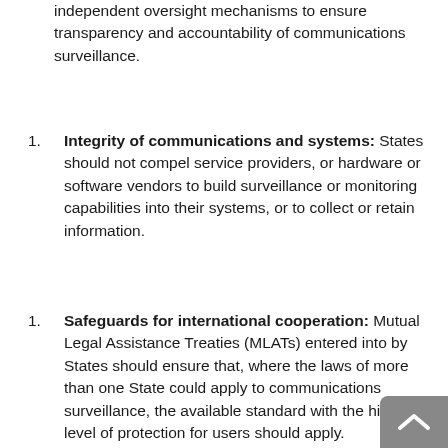independent oversight mechanisms to ensure transparency and accountability of communications surveillance.
Integrity of communications and systems: States should not compel service providers, or hardware or software vendors to build surveillance or monitoring capabilities into their systems, or to collect or retain information.
Safeguards for international cooperation: Mutual Legal Assistance Treaties (MLATs) entered into by States should ensure that, where the laws of more than one State could apply to communications surveillance, the available standard with the higher level of protection for users should apply.